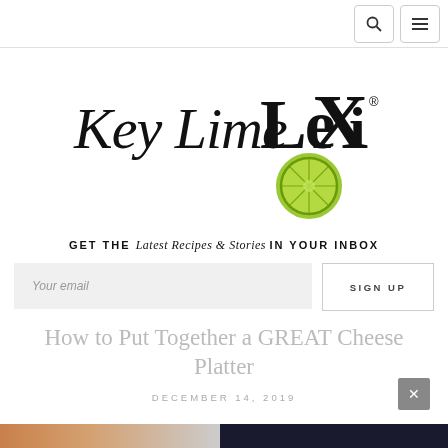[Search icon] [Menu icon]
[Figure (logo): Key Lime Lexi logo with stylized text and lime slice graphic]
GET THE Latest Recipes & Stories IN YOUR INBOX
Your email
SIGN UP
How to Put Together a GREAT Cheese Platter
DECEMBER 14, 2019